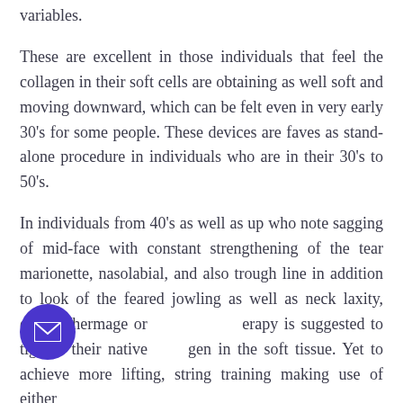variables.
These are excellent in those individuals that feel the collagen in their soft cells are obtaining as well soft and moving downward, which can be felt even in very early 30's for some people. These devices are faves as stand-alone procedure in individuals who are in their 30's to 50's.
In individuals from 40's as well as up who note sagging of mid-face with constant strengthening of the tear marionette, nasolabial, and also trough line in addition to look of the feared jowling as well as neck laxity, either Thermage or erapy is suggested to tighten their native gen in the soft tissue. Yet to achieve more lifting, string training making use of either